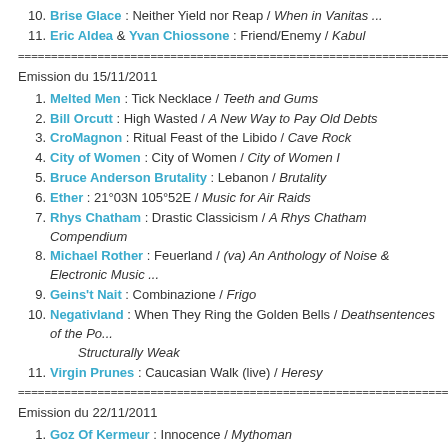10. Brise Glace : Neither Yield nor Reap / When in Vanitas ...
11. Eric Aldea & Yvan Chiossone : Friend/Enemy / Kabul
========================================
Emission du 15/11/2011
1. Melted Men : Tick Necklace / Teeth and Gums
2. Bill Orcutt : High Wasted / A New Way to Pay Old Debts
3. CroMagnon : Ritual Feast of the Libido / Cave Rock
4. City of Women : City of Women / City of Women I
5. Bruce Anderson Brutality : Lebanon / Brutality
6. Ether : 21°03N 105°52E / Music for Air Raids
7. Rhys Chatham : Drastic Classicism / A Rhys Chatham Compendium
8. Michael Rother : Feuerland / (va) An Anthology of Noise & Electronic Music ...
9. Geins't Nait : Combinazione / Frigo
10. Negativland : When They Ring the Golden Bells / Deathsentences of the Po... Structurally Weak
11. Virgin Prunes : Caucasian Walk (live) / Heresy
========================================
Emission du 22/11/2011
1. Goz Of Kermeur : Innocence / Mythoman
2. Kourgane : Chemin Blanc / Heavy
3. Pigface : Tapeworm / Gub
4. Melvins + Lustmord : Bloated Pope / Pigs of the Roman Empire
5. Foetus : Downfall / Gash